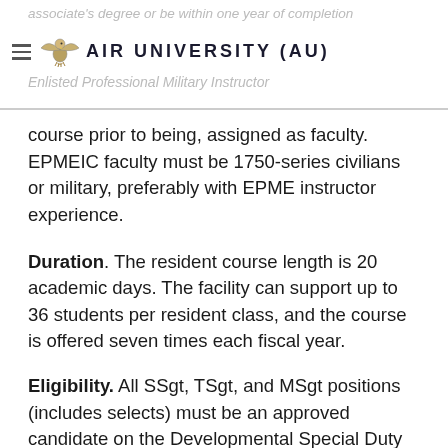associate's degree or be within one year of completion | AIR UNIVERSITY (AU) | Enlisted Professional Military Instructor
course prior to being, assigned as faculty. EPMEIC faculty must be 1750-series civilians or military, preferably with EPME instructor experience.
Duration. The resident course length is 20 academic days. The facility can support up to 36 students per resident class, and the course is offered seven times each fiscal year.
Eligibility. All SSgt, TSgt, and MSgt positions (includes selects) must be an approved candidate on the Developmental Special Duty